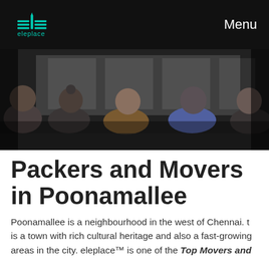[Figure (logo): eleplace logo — stylized building/city icon in teal/cyan color with text 'eleplace' below in teal]
Menu
[Figure (photo): Group of five people sitting around a table, looking down at documents or a table surface, in a dimly lit office setting with windows in background]
Packers and Movers in Poonamallee
Poonamallee is a neighbourhood in the west of Chennai. t is a town with rich cultural heritage and also a fast-growing areas in the city. eleplace™ is one of the Top Movers and